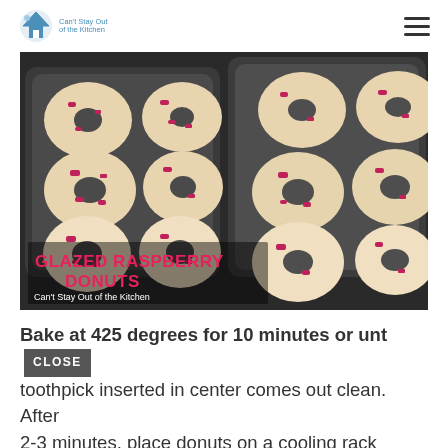Can't Stay Out of the Kitchen
[Figure (photo): Two donut baking pans on a stove top filled with freshly baked glazed raspberry donuts. Text overlay reads 'GLAZED RASPBERRY DONUTS' and 'Can't Stay Out of the Kitchen'.]
Bake at 425 degrees for 10 minutes or until a toothpick inserted in center comes out clean. After 2-3 minutes, place donuts on a cooling rack